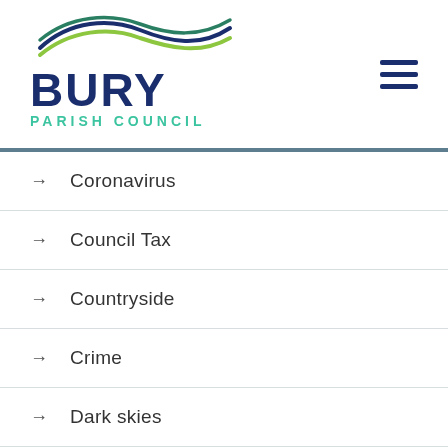[Figure (logo): Bury Parish Council logo with wave graphic in green and blue, bold dark blue BURY text and teal PARISH COUNCIL text]
→ Coronavirus
→ Council Tax
→ Countryside
→ Crime
→ Dark skies
→ Dogs